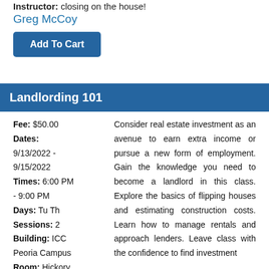Instructor: closing on the house!
Greg McCoy
Add To Cart
Landlording 101
Fee: $50.00
Dates: 9/13/2022 - 9/15/2022
Times: 6:00 PM - 9:00 PM
Days: Tu Th
Sessions: 2
Building: ICC Peoria Campus
Room: Hickory
Consider real estate investment as an avenue to earn extra income or pursue a new form of employment. Gain the knowledge you need to become a landlord in this class. Explore the basics of flipping houses and estimating construction costs. Learn how to manage rentals and approach lenders. Leave class with the confidence to find investment